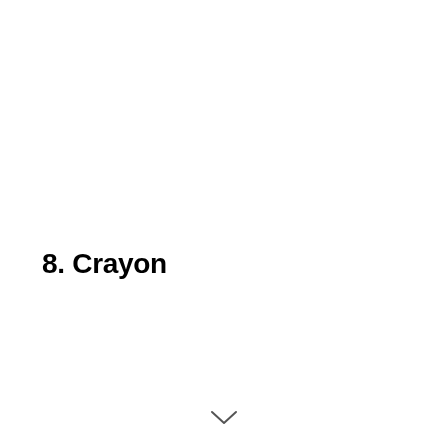8. Crayon
[Figure (other): A downward-pointing chevron/arrow icon at the bottom center of the page]